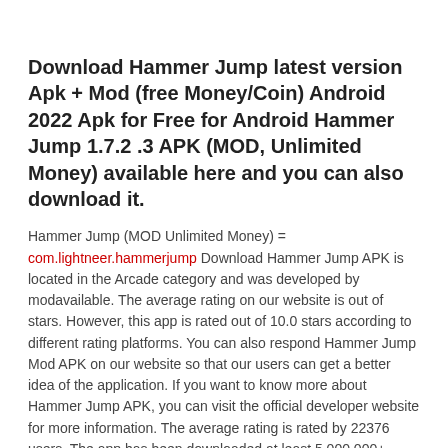Download Hammer Jump latest version Apk + Mod (free Money/Coin) Android 2022 Apk for Free for Android Hammer Jump 1.7.2 .3 APK (MOD, Unlimited Money) available here and you can also download it.
Hammer Jump (MOD Unlimited Money) = com.lightneer.hammerjump Download Hammer Jump APK is located in the Arcade category and was developed by modavailable. The average rating on our website is out of stars. However, this app is rated out of 10.0 stars according to different rating platforms. You can also respond Hammer Jump Mod APK on our website so that our users can get a better idea of the application. If you want to know more about Hammer Jump APK, you can visit the official developer website for more information. The average rating is rated by 22376 users. The app has been downloaded at least 5,000,000+ times. Download Hammer Jump APK If you need a free app for your Action device, but you need version or higher to install this app.